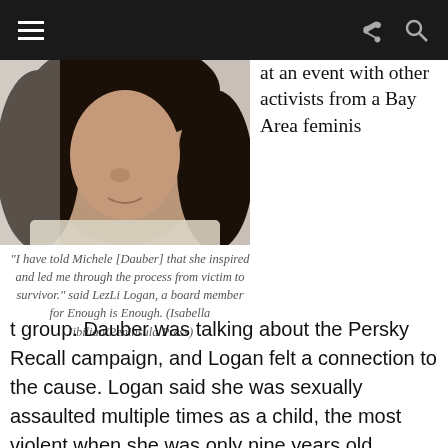[Figure (photo): Close-up photo of a woman with dark hair, partial face view, wearing a light-colored top.]
at an event with other activists from a Bay Area feminist group.
“I have told Michele [Dauber] that she inspired and led me through the process from victim to survivor.” said LezLi Logan, a board member for Enough is Enough. (Isabella Jibilian/Peninsula Press)
t group. Dauber was talking about the Persky Recall campaign, and Logan felt a connection to the cause. Logan said she was sexually assaulted multiple times as a child, the most violent when she was only nine years old.